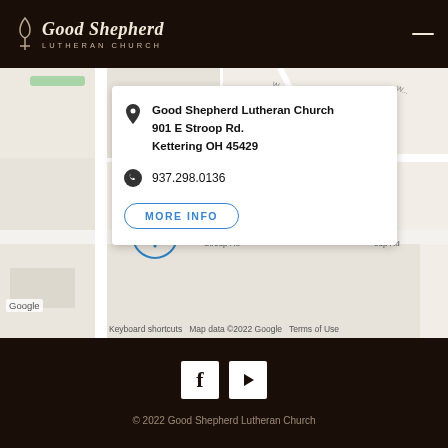Good Shepherd Lutheran Church
[Figure (map): Google Maps showing location of Good Shepherd Lutheran Church at 901 E Stroop Rd, Kettering OH 45429, with a blue location pin marker on the map and an info card overlay.]
Good Shepherd Lutheran Church
901 E Stroop Rd.
Kettering OH 45429
937.298.0136
MORE INFO
Keyboard shortcuts   Map data ©2022 Google   Terms of Use
[Figure (logo): Facebook logo (white F on white square background) and video play button (triangle on white square background)]
© 2022 Good Shepherd Lutheran Church